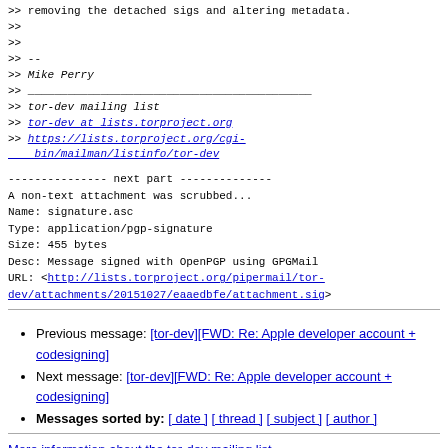>> removing the detached sigs and altering metadata.
>>
>>
>> --
>> Mike Perry
>> ___________________________________________
>> tor-dev mailing list
>> tor-dev at lists.torproject.org
>> https://lists.torproject.org/cgi-bin/mailman/listinfo/tor-dev
--------------- next part --------------
A non-text attachment was scrubbed...
Name: signature.asc
Type: application/pgp-signature
Size: 455 bytes
Desc: Message signed with OpenPGP using GPGMail
URL: <http://lists.torproject.org/pipermail/tor-dev/attachments/20151027/eaaedbfe/attachment.sig>
Previous message: [tor-dev][FWD: Re: Apple developer account + codesigning]
Next message: [tor-dev][FWD: Re: Apple developer account + codesigning]
Messages sorted by: [ date ] [ thread ] [ subject ] [ author ]
More information about the tor-dev mailing list